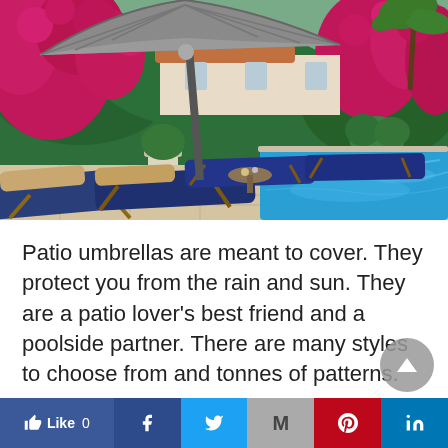[Figure (photo): Outdoor pool area with blue lounge chairs, a large patio umbrella, lush green hedges, pink flowering bougainvillea, a white stone urn planter, terracotta tile roof villa, and a clear blue swimming pool on a stone patio.]
Patio umbrellas are meant to cover. They protect you from the rain and sun. They are a patio lover's best friend and a poolside partner. There are many styles to choose from and tonnes of patterns. When it's time